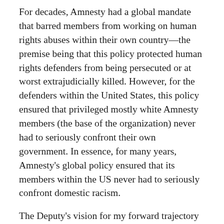For decades, Amnesty had a global mandate that barred members from working on human rights abuses within their own country—the premise being that this policy protected human rights defenders from being persecuted or at worst extrajudicially killed. However, for the defenders within the United States, this policy ensured that privileged mostly white Amnesty members (the base of the organization) never had to seriously confront their own government. In essence, for many years, Amnesty's global policy ensured that its members within the US never had to seriously confront domestic racism.
The Deputy's vision for my forward trajectory would be challenged and seriously altered by the police murder of an unarmed Howard University alumnus-classmate of mine named Prince Carmen Jones by Prince George's County Maryland Police on